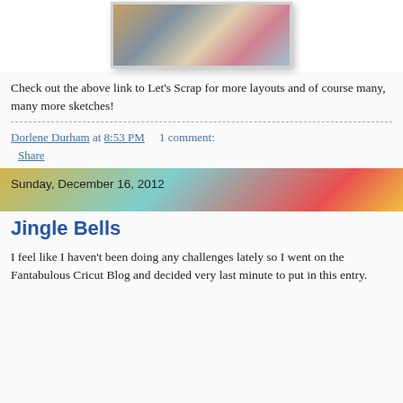[Figure (photo): Scrapbook layout photo with decorative elements, travel-themed collage]
Check out the above link to Let's Scrap for more layouts and of course many, many more sketches!
Dorlene Durham at 8:53 PM    1 comment:
Share
[Figure (photo): Colorful painted banner with date text: Sunday, December 16, 2012]
Jingle Bells
I feel like I haven't been doing any challenges lately so I went on the Fantabulous Cricut Blog and decided very last minute to put in this entry.